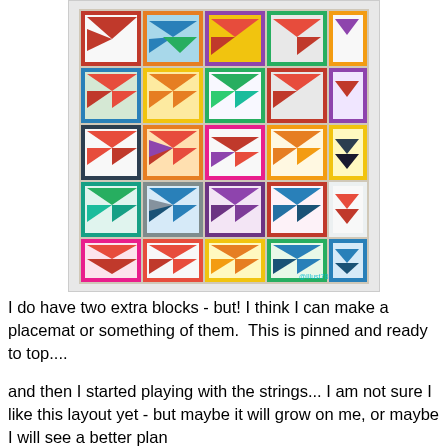[Figure (photo): A colorful quilt top laid out flat, showing a grid of approximately 20 square quilt blocks. Each block features arrow/flying geese triangle patterns in various bright colors including red, orange, green, blue, purple, yellow, and pink, set against contrasting framing squares. The blocks are arranged in a 4x5 grid layout. A small watermark is visible in the lower right corner of the quilt.]
I do have two extra blocks - but! I think I can make a placemat or something of them.  This is pinned and ready to top....
and then I started playing with the strings... I am not sure I like this layout yet - but maybe it will grow on me, or maybe I will see a better plan